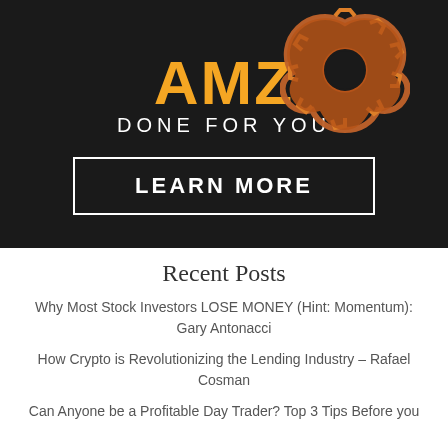[Figure (logo): AMZ Done For You advertisement banner with gear logo on dark background, orange AMZ text, white DONE FOR YOU text, and LEARN MORE button]
Recent Posts
Why Most Stock Investors LOSE MONEY (Hint: Momentum): Gary Antonacci
How Crypto is Revolutionizing the Lending Industry – Rafael Cosman
Can Anyone be a Profitable Day Trader? Top 3 Tips Before you